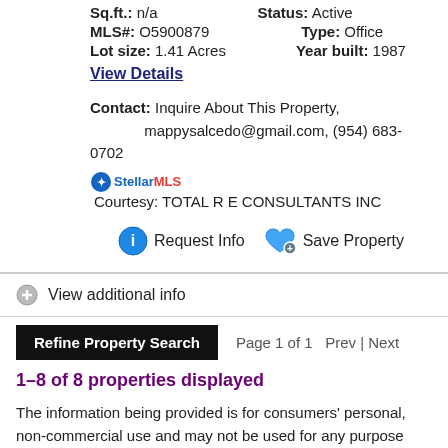Sq.ft.: n/a   Status: Active
MLS#: O5900879   Type: Office
Lot size: 1.41 Acres   Year built: 1987
View Details
Contact: Inquire About This Property, mappysalcedo@gmail.com, (954) 683-0702
Courtesy: TOTAL R E CONSULTANTS INC
Request Info   Save Property
View additional info
Refine Property Search   Page 1 of 1   Prev | Next
1–8 of 8 properties displayed
The information being provided is for consumers' personal, non-commercial use and may not be used for any purpose other than to identify prospective properties consumers may be interested in purchasing. Use of search facilities of